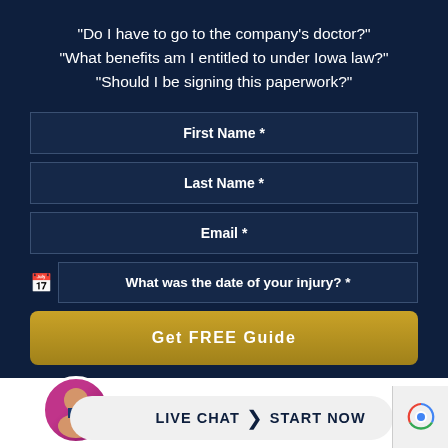"Do I have to go to the company's doctor?"
"What benefits am I entitled to under Iowa law?"
"Should I be signing this paperwork?"
First Name *
Last Name *
Email *
What was the date of your injury? *
Get FREE Guide
LIVE CHAT › START NOW